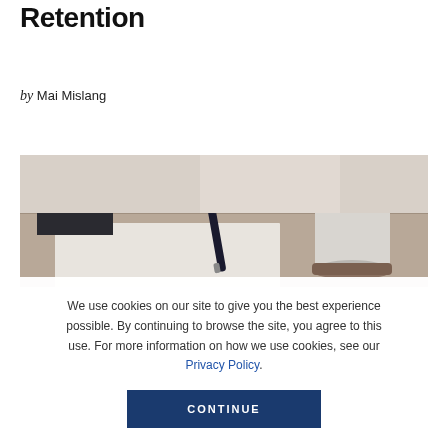Retention
by Mai Mislang
[Figure (photo): A photo of a desk scene with a pen, mug, and papers in soft focus]
We use cookies on our site to give you the best experience possible. By continuing to browse the site, you agree to this use. For more information on how we use cookies, see our Privacy Policy.
CONTINUE